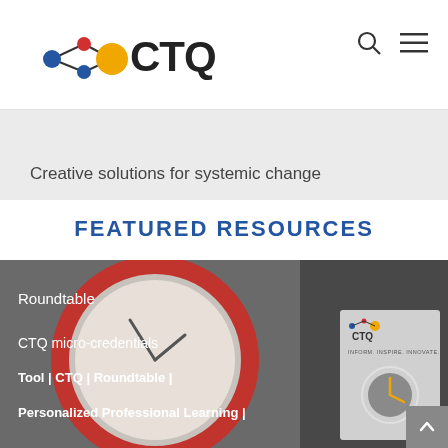[Figure (logo): CTQ logo with colored nodes and text]
Creative solutions for systemic change
FEATURED RESOURCES
[Figure (photo): Red alarm clock photo with CTQ branding overlay, showing text: Roundtable, CTQ micro-credentials, Tool | CTQ | Roundtable |, Personalized Professional Learning |]